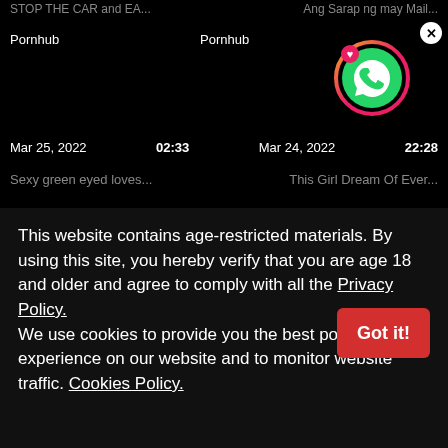STOP THE CAR and EA...    Ang Sarap ng may Mail...
Pornhub    Pornhub
[Figure (logo): WhatsApp icon with heart badge on circular gradient ring]
Mar 25, 2022   02:33   Mar 24, 2022   22:28
Sexy green eyed loves...   This Girl Dream Of Ever...
This website contains age-restricted materials. By using this site, you hereby verify that you are age 18 and older and agree to comply with all the Privacy Policy.
We use cookies to provide you the best possible experience on our website and to monitor website traffic. Cookies Policy.
Got it!